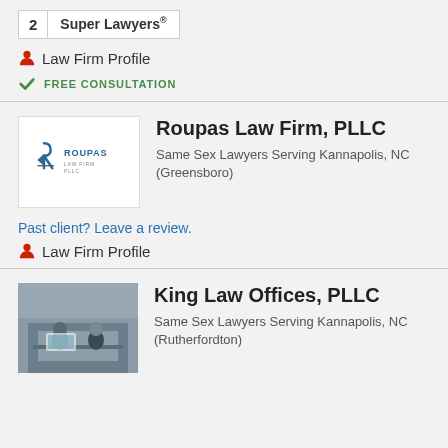2 Super Lawyers®
🔴 Law Firm Profile
✔ FREE CONSULTATION
Roupas Law Firm, PLLC
Same Sex Lawyers Serving Kannapolis, NC (Greensboro)
Past client? Leave a review.
🔴 Law Firm Profile
King Law Offices, PLLC
Same Sex Lawyers Serving Kannapolis, NC (Rutherfordton)